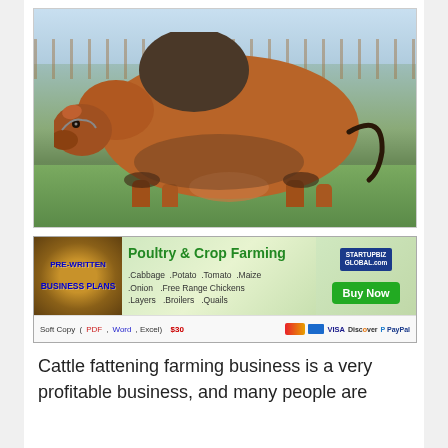[Figure (photo): Side profile of a large Brahman bull (reddish-brown with dark hump and legs) standing on green grass with a fence in the background.]
[Figure (infographic): Advertisement banner for Startupbiz Global featuring Poultry & Crop Farming pre-written business plans including Cabbage, Potato, Tomato, Maize, Onion, Free Range Chickens, Layers, Broilers, Quails. Soft Copy (PDF, Word, Excel) $30. Buy Now button. Payment icons: MasterCard, Visa, Discover, PayPal.]
Cattle fattening farming business is a very profitable business, and many people are